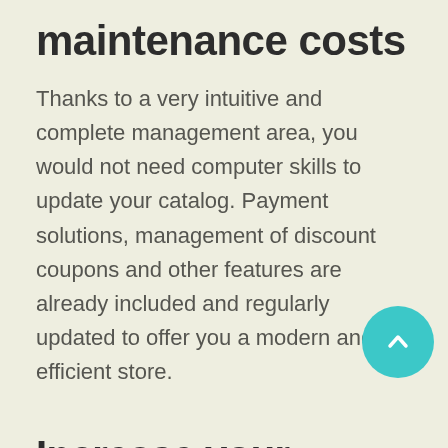maintenance costs
Thanks to a very intuitive and complete management area, you would not need computer skills to update your catalog. Payment solutions, management of discount coupons and other features are already included and regularly updated to offer you a modern and efficient store.
Increase your visibilit
Take advantage of the audience brought by each instructor as well as through our own regular communication operations. Referencing in search engines will also be optimized thanks to the size